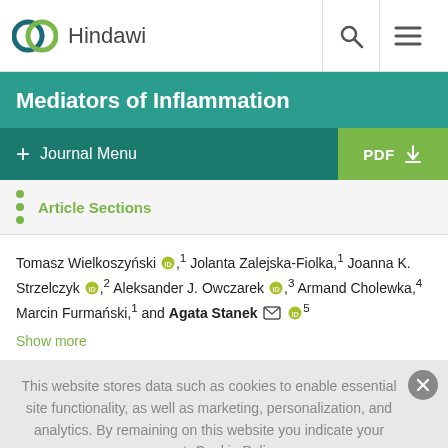[Figure (logo): Hindawi publisher logo with interlinked circles in teal and dark blue, followed by the text 'Hindawi']
Mediators of Inflammation
+ Journal Menu  PDF (download icon)
Article Sections
Tomasz Wielkoszyński, 1 Jolanta Zalejska-Fiolka, 1 Joanna K. Strzelczyk, 2 Aleksander J. Owczarek, 3 Armand Cholewka, 4 Marcin Furmański, 1 and Agata Stanek 5
Show more
This website stores data such as cookies to enable essential site functionality, as well as marketing, personalization, and analytics. By remaining on this website you indicate your consent. Cookie Policy